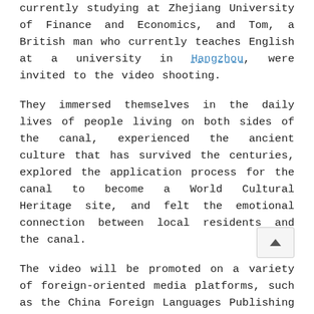currently studying at Zhejiang University of Finance and Economics, and Tom, a British man who currently teaches English at a university in Hangzhou, were invited to the video shooting.
They immersed themselves in the daily lives of people living on both sides of the canal, experienced the ancient culture that has survived the centuries, explored the application process for the canal to become a World Cultural Heritage site, and felt the emotional connection between local residents and the canal.
The video will be promoted on a variety of foreign-oriented media platforms, such as the China Foreign Languages Publishing Administration, Xinhua News Agency, China Radio International, China Daily, China News Service, and Zhejiang TV International Channel.
Promotional videos on West Lake and the Archaeological Ruins of Liangzhu City will be released on June 24 and July